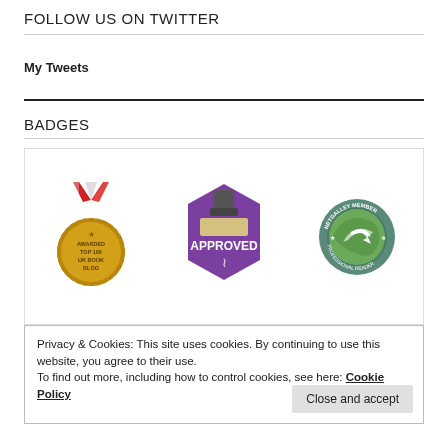FOLLOW US ON TWITTER
My Tweets
BADGES
[Figure (illustration): Three badges: a gold medal reading 'Awarded Top 100 UK Book Blog', a purple hexagon stamp reading 'Approved', and a circular green badge reading 'NetGalley Member Professional Reader']
Privacy & Cookies: This site uses cookies. By continuing to use this website, you agree to their use.
To find out more, including how to control cookies, see here: Cookie Policy
Close and accept